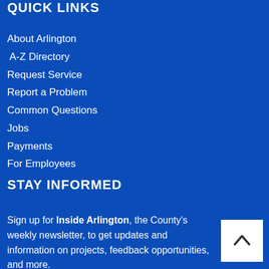QUICK LINKS
About Arlington
A-Z Directory
Request Service
Report a Problem
Common Questions
Jobs
Payments
For Employees
STAY INFORMED
Sign up for Inside Arlington, the County's weekly newsletter, to get updates and information on projects, feedback opportunities, and more.